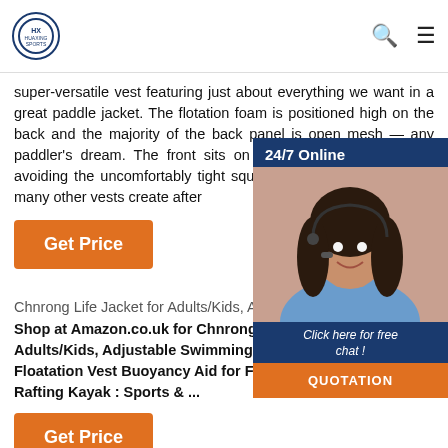[Figure (logo): Huaxing Sports logo with circular emblem]
super-versatile vest featuring just about everything we want in a great paddle jacket. The flotation foam is positioned high on the back and the majority of the back panel is open mesh — any paddler's dream. The front sits on top of the foam paneling, avoiding the uncomfortably tight squeezing of the chest that so many other vests create after
[Figure (photo): 24/7 Online chat widget with woman wearing headset, click here for free chat, quotation button]
Get Price
Chnrong Life Jacket for Adults/Kids, Adjustable Swimming ...
Shop at Amazon.co.uk for Chnrong Life Jacket for Adults/Kids, Adjustable Swimming Vest with Safety Pocket Floatation Vest Buoyancy Aid for Fishing Surfing Diving Rafting Kayak : Sports & ...
Get Price